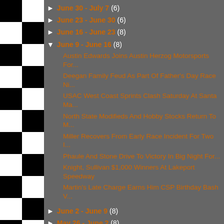[Figure (illustration): Checkered racing flag pattern on the left side of the page, alternating black and white squares in a vertical strip]
► June 30 - July 7 (6)
► June 23 - June 30 (6)
► June 16 - June 23 (8)
▼ June 9 - June 16 (8)
Austin Edwards Joins Austin Herzog Motorsports For...
Deegan Family Feud As Part Of Father's Day Race Ni...
USAC West Coast Sprints Clash Saturday At Santa Ma...
North State Modifieds And Hobby Stocks Return To M...
Miller Recovers From Early Race Incident For Two I...
Phaule And Stone Drive To Victory In Big Night For...
Knight, Sullivan $1,000 Winners At Lakeport Speedway
Martin's Late Charge Earns Him CSP Birthday Bash V...
► June 2 - June 9 (8)
► May 26 - June 2 (8)
► May 19 - May 26 (1)
► May 12 - May 19 (6)
► May 5 - May 12 (5)
► April 28 - May 5 (9)
► April 21 - April 28 (7)